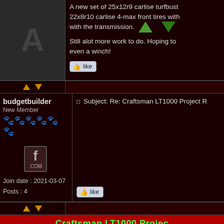A new set of 25x12r9 carlise turfbust 22x8r10 carlise 4-max front tires with with the transmission. Still alot more work to do. Hoping to even a winch!
[Figure (illustration): Like button with thumbs up icon]
budgetbuilder
New Member
Join date : 2021-03-07
Posts : 4
Subject: Re: Craftsman LT1000 Project R
[Figure (illustration): Like button with thumbs up icon]
Craftsman LT1000 Projec
Page 1 of 1